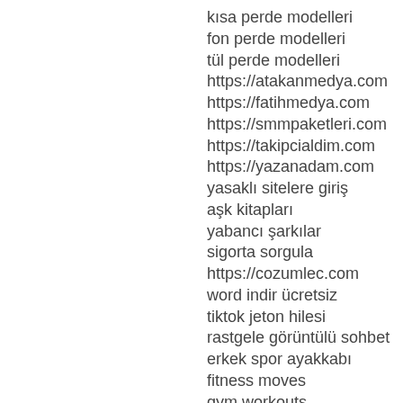kısa perde modelleri
fon perde modelleri
tül perde modelleri
https://atakanmedya.com
https://fatihmedya.com
https://smmpaketleri.com
https://takipcialdim.com
https://yazanadam.com
yasaklı sitelere giriş
aşk kitapları
yabancı şarkılar
sigorta sorgula
https://cozumlec.com
word indir ücretsiz
tiktok jeton hilesi
rastgele görüntülü sohbet
erkek spor ayakkabı
fitness moves
gym workouts
https://marsbahiscasino.org
http://4mcafee.com
http://paydayloansonlineare.com
Ranky